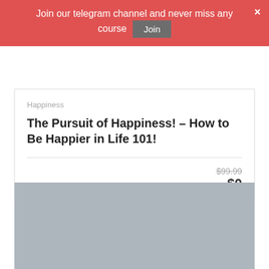Join our telegram channel and never miss any course  Join  ×
Happiness
The Pursuit of Happiness! – How to Be Happier in Life 101!
$99.99  $0
[Figure (photo): Gray placeholder image for a course thumbnail]